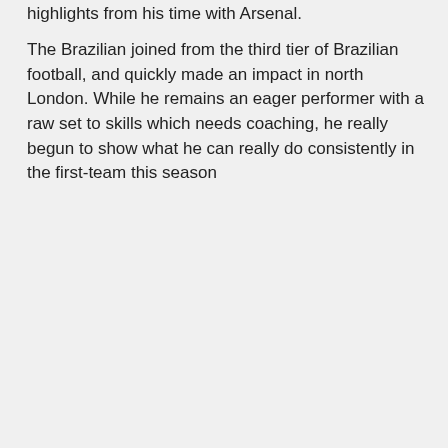highlights from his time with Arsenal.
The Brazilian joined from the third tier of Brazilian football, and quickly made an impact in north London. While he remains an eager performer with a raw set to skills which needs coaching, he really begun to show what he can really do consistently in the first-team this season